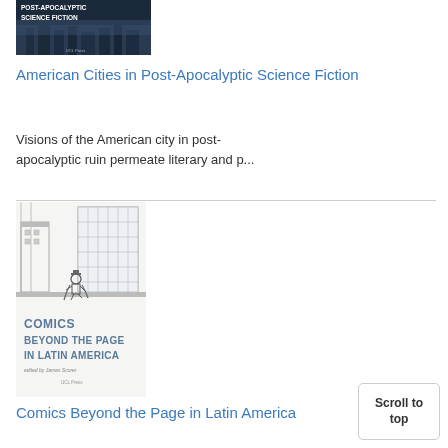[Figure (illustration): Book cover for 'Post-Apocalyptic Science Fiction' — dark blue/grey cover with 'POST-APOCALYPTIC SCIENCE FICTION' title in white text, UCL Press logo at bottom]
American Cities in Post-Apocalyptic Science Fiction
Visions of the American city in post-apocalyptic ruin permeate literary and p...
[Figure (illustration): Book cover for 'Comics Beyond the Page in Latin America' — black and white ink illustration of a city street scene with a person in a hat, blue title text at bottom, edited by James Scorer, UCL Press logo]
Comics Beyond the Page in Latin America